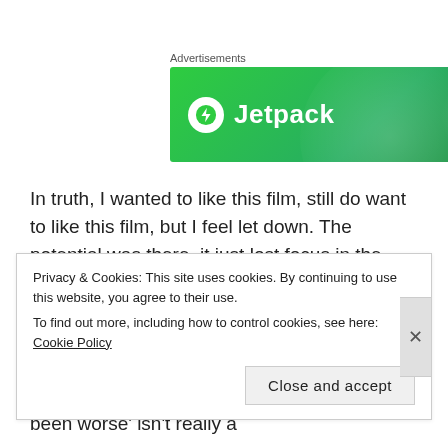[Figure (other): Jetpack advertisement banner with green background and Jetpack logo and text]
In truth, I wanted to like this film, still do want to like this film, but I feel let down. The potential was there, it just lost focus in the execution. Which is, after all, probably something I should have been clued into, given the hilariously bad airbrushing of McCarthy on the UK poster (the image with this review is of the US poster). 'It could have been worse' isn't really a
Privacy & Cookies: This site uses cookies. By continuing to use this website, you agree to their use.
To find out more, including how to control cookies, see here: Cookie Policy
Close and accept